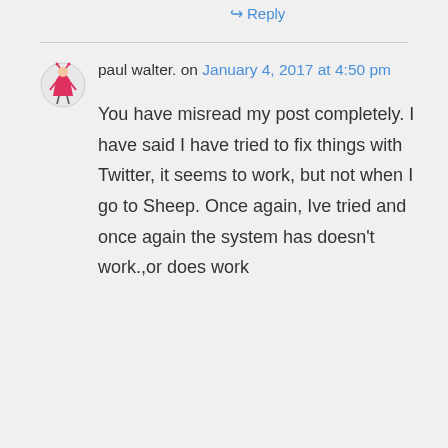↪ Reply
paul walter. on January 4, 2017 at 4:50 pm
You have misread my post completely. I have said I have tried to fix things with Twitter, it seems to work, but not when I go to Sheep. Once again, Ive tried and once again the system has doesn't work.,or does work